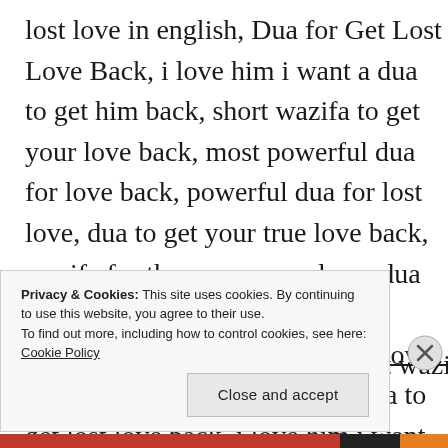lost love in english, Dua for Get Lost Love Back, i love him i want a dua to get him back, short wazifa to get your love back, most powerful dua for love back, powerful dua for lost love, dua to get your true love back, wazifa for the person you love, dua in islam to make someone fall in love with you, strongest wazifa love, wazifa to get your love back, dua to get lost love back, i love him i want a dua to get him back, dua to get your true love back, wazifa for the person you love, strongest wazifa love, most powerful dua for love back, wazifa to get back lost love, best wazifa for love Allah
Privacy & Cookies: This site uses cookies. By continuing to use this website, you agree to their use. To find out more, including how to control cookies, see here: Cookie Policy
Close and accept